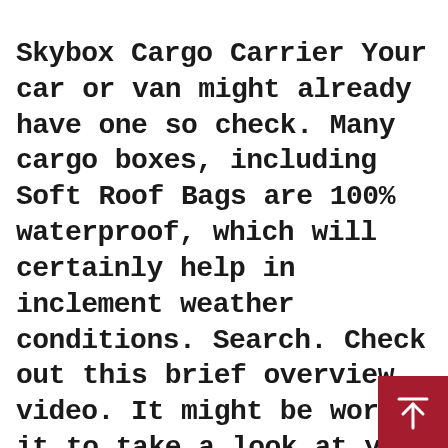Skybox Cargo Carrier Your car or van might already have one so check. Many cargo boxes, including Soft Roof Bags are 100% waterproof, which will certainly help in inclement weather conditions. Search. Check out this brief overview video. It might be worth it to take a look at your particular cargo box and see if it has a few places (probably at least two points) where a hook could be used to hold it to a wall. You could also use a ladder or some